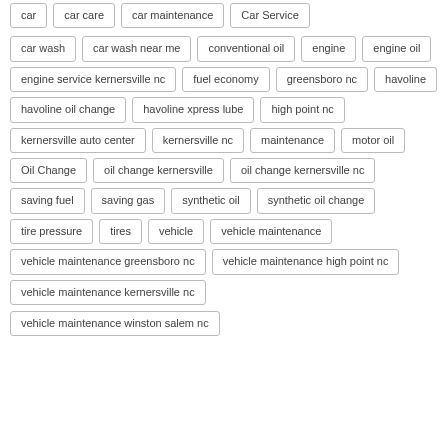car | car care | car maintenance | Car Service | car wash | car wash near me | conventional oil | engine | engine oil | engine service kernersville nc | fuel economy | greensboro nc | havoline | havoline oil change | havoline xpress lube | high point nc | kernersville auto center | kernersville nc | maintenance | motor oil | Oil Change | oil change kernersville | oil change kernersville nc | saving fuel | saving gas | synthetic oil | synthetic oil change | tire pressure | tires | vehicle | vehicle maintenance | vehicle maintenance greensboro nc | vehicle maintenance high point nc | vehicle maintenance kernersville nc | vehicle maintenance winston salem nc